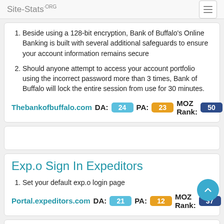Site-Stats.ORG
Beside using a 128-bit encryption, Bank of Buffalo's Online Banking is built with several additional safeguards to ensure your account information remains secure
Should anyone attempt to access your account portfolio using the incorrect password more than 3 times, Bank of Buffalo will lock the entire session from use for 30 minutes.
Thebankofbuffalo.com  DA: 24  PA: 23  MOZ Rank: 50
Exp.o Sign In Expeditors
Set your default exp.o login page
Portal.expeditors.com  DA: 21  PA: 12  MOZ Rank: 37
Sign In CCCS Of Buffalo